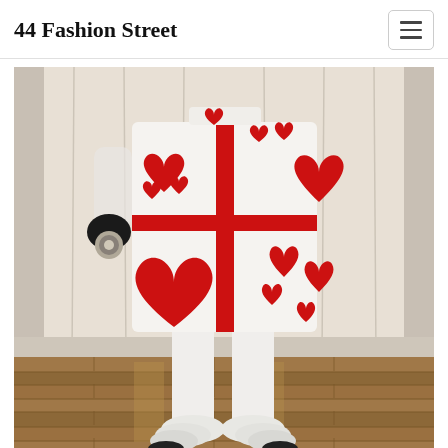44 Fashion Street
[Figure (photo): A person wearing a white dress/coat decorated with a grid of large and small red hearts and red ribbon-like bands forming a cross pattern. The person wears white tights and fluffy white shoes with black soles. They hold something metallic in one black-gloved hand. Background is a white/cream curtain above a wooden floor.]